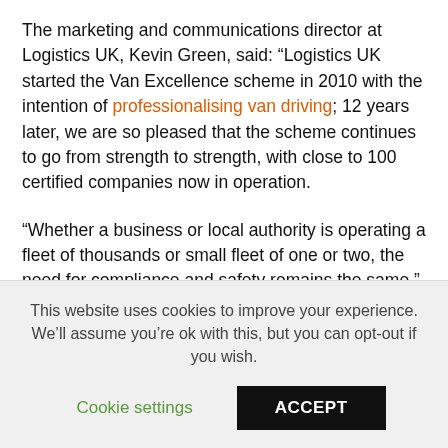The marketing and communications director at Logistics UK, Kevin Green, said: “Logistics UK started the Van Excellence scheme in 2010 with the intention of professionalising van driving; 12 years later, we are so pleased that the scheme continues to go from strength to strength, with close to 100 certified companies now in operation.
“Whether a business or local authority is operating a fleet of thousands or small fleet of one or two, the need for compliance and safety remains the same.”
This website uses cookies to improve your experience. We’ll assume you’re ok with this, but you can opt-out if you wish.
Cookie settings | ACCEPT